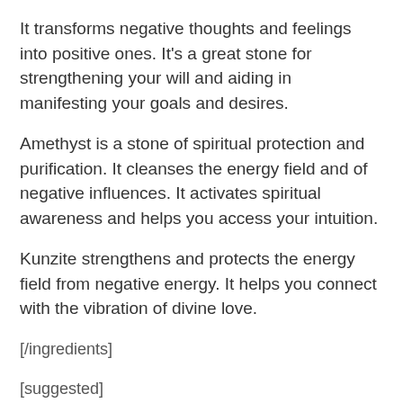It transforms negative thoughts and feelings into positive ones. It's a great stone for strengthening your will and aiding in manifesting your goals and desires.
Amethyst is a stone of spiritual protection and purification. It cleanses the energy field and of negative influences. It activates spiritual awareness and helps you access your intuition.
Kunzite strengthens and protects the energy field from negative energy. It helps you connect with the vibration of divine love.
[/ingredients]
[suggested]
Suggested Use: Use as daily self-care ritual to cleanse and protect the aura, relax the mind, heighten awareness, and